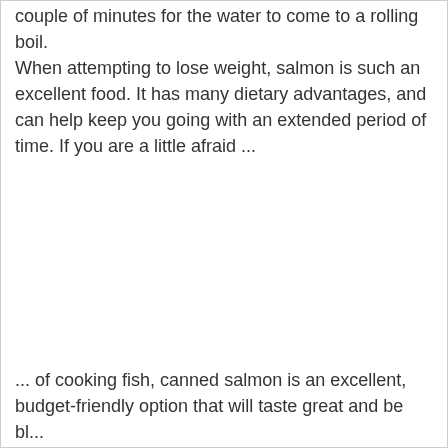couple of minutes for the water to come to a rolling boil. When attempting to lose weight, salmon is such an excellent food. It has many dietary advantages, and can help keep you going with an extended period of time. If you are a little afraid ...
... of cooking fish, canned salmon is an excellent, budget-friendly option that will taste great and be bl...